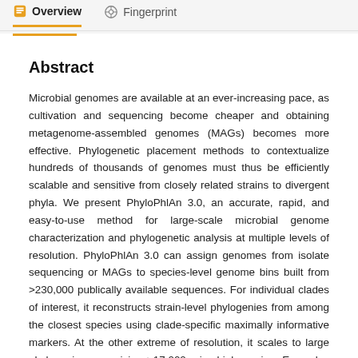Overview  Fingerprint
Abstract
Microbial genomes are available at an ever-increasing pace, as cultivation and sequencing become cheaper and obtaining metagenome-assembled genomes (MAGs) becomes more effective. Phylogenetic placement methods to contextualize hundreds of thousands of genomes must thus be efficiently scalable and sensitive from closely related strains to divergent phyla. We present PhyloPhlAn 3.0, an accurate, rapid, and easy-to-use method for large-scale microbial genome characterization and phylogenetic analysis at multiple levels of resolution. PhyloPhlAn 3.0 can assign genomes from isolate sequencing or MAGs to species-level genome bins built from >230,000 publically available sequences. For individual clades of interest, it reconstructs strain-level phylogenies from among the closest species using clade-specific maximally informative markers. At the other extreme of resolution, it scales to large phylogenies comprising >17,000 microbial species. Examples including